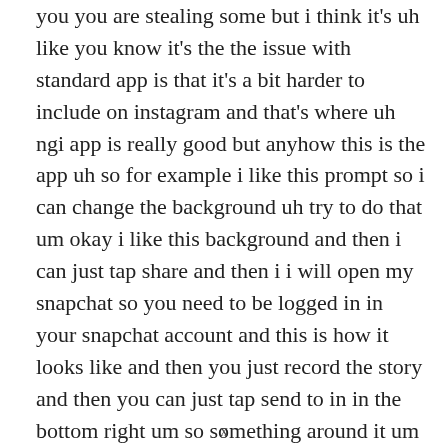you you are stealing some but i think it's uh like you know it's the the issue with standard app is that it's a bit harder to include on instagram and that's where uh ngi app is really good but anyhow this is the app uh so for example i like this prompt so i can change the background uh try to do that um okay i like this background and then i can just tap share and then i i will open my snapchat so you need to be logged in in your snapchat account and this is how it looks like and then you just record the story and then you can just tap send to in in the bottom right um so something around it um and then you can see like and that's basically it so then
x